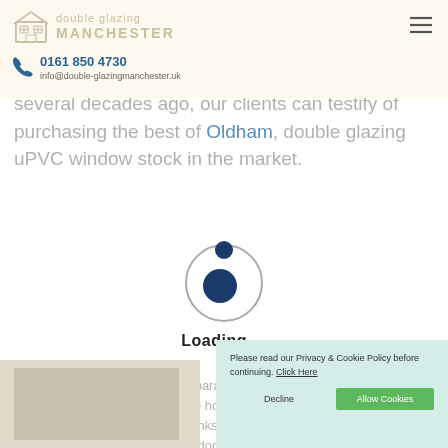Double Glazing Manchester — 0161 850 4730 — info@double-glazingmanchester.uk
several decades ago, our clients can testify of purchasing the best of Oldham, double glazing uPVC window stock in the market.
[Figure (infographic): Loading spinner animation — circular spinner with dark blue dots and 'Loading ...' text beneath]
Personnel with an excellent preparation who works with ethical behavior during the whole process. All the houses of Oldham in which we have worked show a great aspect thanks to our high-quality uPVC windows. A great assistance after the job is done, we give useful advice to our clients and extensive guarantees.
Please read our Privacy & Cookie Policy before continuing. Click Here
Decline
Allow Cookies